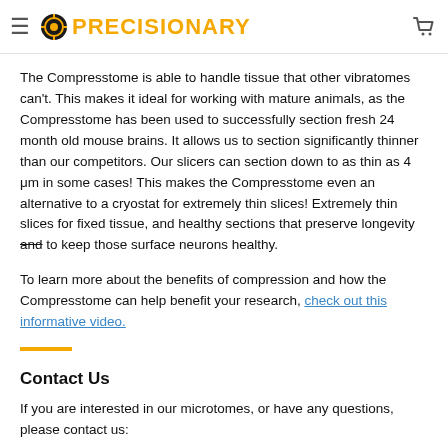PRECISIONARY
The Compresstome is able to handle tissue that other vibratomes can't. This makes it ideal for working with mature animals, as the Compresstome has been used to successfully section fresh 24 month old mouse brains. It allows us to section significantly thinner than our competitors. Our slicers can section down to as thin as 4 μm in some cases! This makes the Compresstome even an alternative to a cryostat for extremely thin slices! Extremely thin slices for fixed tissue, and healthy sections that preserve longevity and to keep those surface neurons healthy.
To learn more about the benefits of compression and how the Compresstome can help benefit your research, check out this informative video.
Contact Us
If you are interested in our microtomes, or have any questions, please contact us:
Website: www.precisionary...